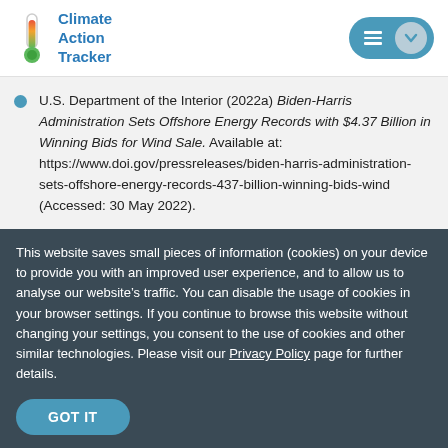Climate Action Tracker
U.S. Department of the Interior (2022a) Biden-Harris Administration Sets Offshore Energy Records with $4.37 Billion in Winning Bids for Wind Sale. Available at: https://www.doi.gov/pressreleases/biden-harris-administration-sets-offshore-energy-records-437-billion-winning-bids-wind (Accessed: 30 May 2022).
This website saves small pieces of information (cookies) on your device to provide you with an improved user experience, and to allow us to analyse our website’s traffic. You can disable the usage of cookies in your browser settings. If you continue to browse this website without changing your settings, you consent to the use of cookies and other similar technologies. Please visit our Privacy Policy page for further details.
GOT IT